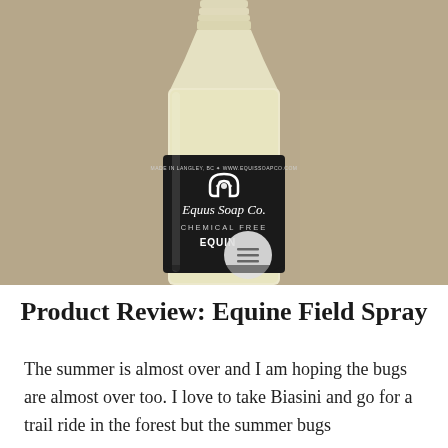[Figure (photo): A plastic spray bottle with a dark label reading 'Equus Soap Co. Chemical [Free] EQUIN[e Field Spray]' with a horseshoe and paw print logo. The bottle contains a pale yellow liquid. Background is a beige/tan wall.]
Product Review: Equine Field Spray
The summer is almost over and I am hoping the bugs are almost over too. I love to take Biasini and go for a trail ride in the forest but the summer bugs